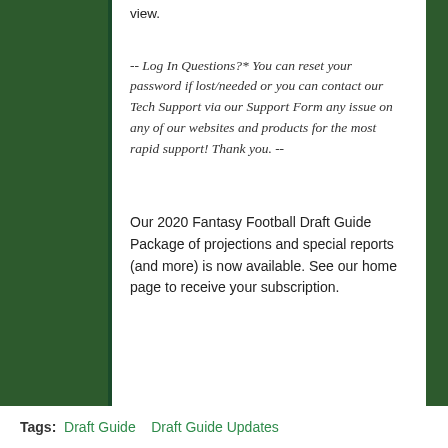view.
-- Log In Questions?* You can reset your password if lost/needed or you can contact our Tech Support via our Support Form any issue on any of our websites and products for the most rapid support! Thank you. --
Our 2020 Fantasy Football Draft Guide Package of projections and special reports (and more) is now available. See our home page to receive your subscription.
Tags:  Draft Guide    Draft Guide Updates